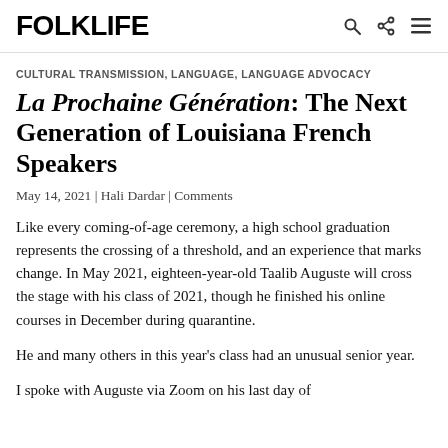FOLKLIFE
CULTURAL TRANSMISSION, LANGUAGE, LANGUAGE ADVOCACY
La Prochaine Génération: The Next Generation of Louisiana French Speakers
May 14, 2021 | Hali Dardar | Comments
Like every coming-of-age ceremony, a high school graduation represents the crossing of a threshold, and an experience that marks change. In May 2021, eighteen-year-old Taalib Auguste will cross the stage with his class of 2021, though he finished his online courses in December during quarantine.
He and many others in this year's class had an unusual senior year.
I spoke with Auguste via Zoom on his last day of